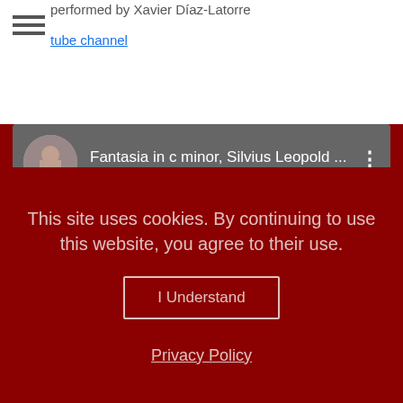performed by Xavier Díaz-Latorre
tube channel
[Figure (screenshot): YouTube video embed showing 'Fantasia in c minor, Silvius Leopold ...' with a circular avatar of a musician and a three-dot more options icon on the right]
This site uses cookies. By continuing to use this website, you agree to their use.
I Understand
Privacy Policy